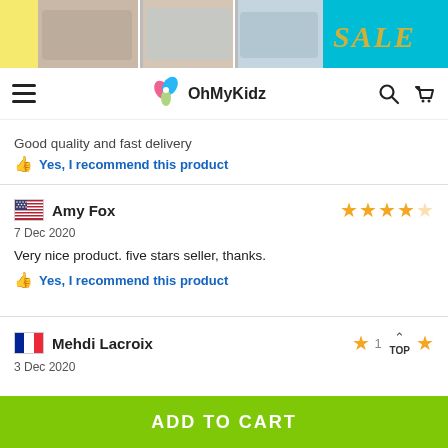[Figure (screenshot): OhMyKidz website banner with sale images and SALE text]
OhMyKidz navigation header with hamburger menu, logo, search and cart icons
Good quality and fast delivery
👍 Yes, I recommend this product
Amy Fox — 4 stars — 7 Dec 2020 — Very nice product. five stars seller, thanks. — Yes, I recommend this product
Mehdi Lacroix — 1 star — 3 Dec 2020
ADD TO CART